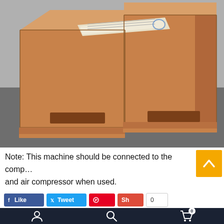[Figure (photo): Two wooden crates/boxes sitting on a concrete floor. The boxes appear to be plywood packaging crates, with forklift entry slots at the bottom. A document or label is placed on top of one of the crates.]
Note: This machine should be connected to the comp... and air compressor when used.
Social sharing buttons (Like, Tweet, Pinterest, Share) and bottom navigation bar with user, search, and cart icons.